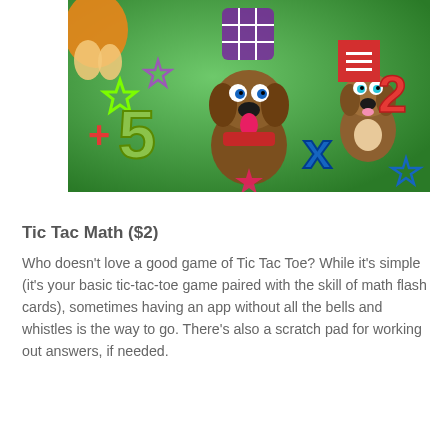[Figure (illustration): Colorful educational app screenshot showing cartoon dogs and puppies on a green background with math symbols: a plus sign, the number 5, an x (multiplication), the number 2, and decorative stars in multiple colors. A hamburger menu icon appears in the top-right corner in red.]
Tic Tac Math ($2)
Who doesn't love a good game of Tic Tac Toe? While it's simple (it's your basic tic-tac-toe game paired with the skill of math flash cards), sometimes having an app without all the bells and whistles is the way to go. There's also a scratch pad for working out answers, if needed.